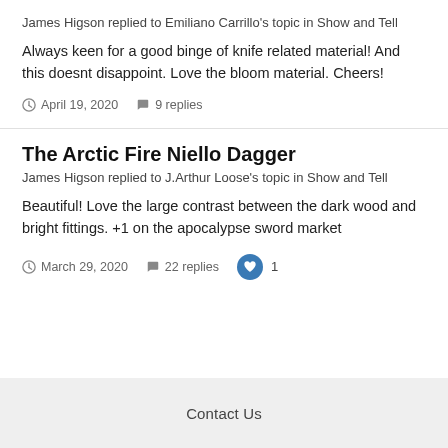James Higson replied to Emiliano Carrillo's topic in Show and Tell
Always keen for a good binge of knife related material! And this doesnt disappoint. Love the bloom material. Cheers!
April 19, 2020   9 replies
The Arctic Fire Niello Dagger
James Higson replied to J.Arthur Loose's topic in Show and Tell
Beautiful! Love the large contrast between the dark wood and bright fittings. +1 on the apocalypse sword market
March 29, 2020   22 replies   1
Contact Us